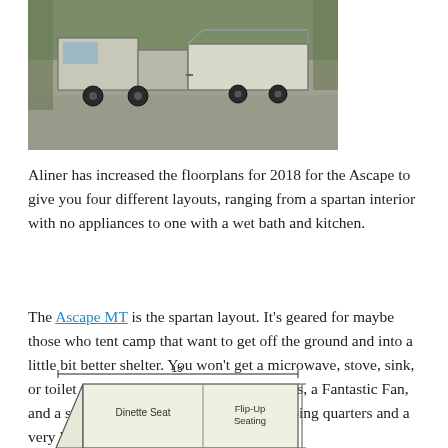[Figure (photo): Photo of a trailer being towed by a pickup truck on a driveway, viewed from behind/side.]
Aliner has increased the floorplans for 2018 for the Ascape to give you four different layouts, ranging from a spartan interior with no appliances to one with a wet bath and kitchen.
The Ascape MT is the spartan layout. It's geared for maybe those who tent camp that want to get off the ground and into a little bit better shelter. You won't get a microwave, stove, sink, or toilet with the MT. But you will get lights, a Fantastic Fan, and a solar port. And you'll get decent sleeping quarters and a very lightweight trailer at just 1170 lbs.
[Figure (schematic): Floorplan diagram of the Ascape MT trailer showing 13 foot width with Dinette Seat and Flip-Up Seating labels.]